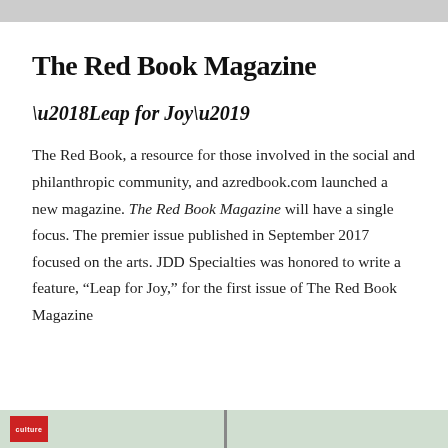The Red Book Magazine
‘Leap for Joy’
The Red Book, a resource for those involved in the social and philanthropic community, and azredbook.com launched a new magazine. The Red Book Magazine will have a single focus. The premier issue published in September 2017 focused on the arts. JDD Specialties was honored to write a feature, “Leap for Joy,” for the first issue of The Red Book Magazine
[Figure (photo): Bottom strip showing a partial image with a red box containing the word 'culture' and a green/grey background.]